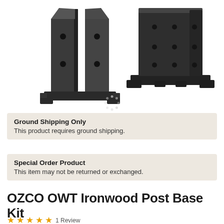[Figure (photo): Two black metal post base brackets — one open/unassembled (left) and one assembled (right) — shown on white background]
Ground Shipping Only
This product requires ground shipping.
Special Order Product
This item may not be returned or exchanged.
OZCO OWT Ironwood Post Base Kit
1 Review